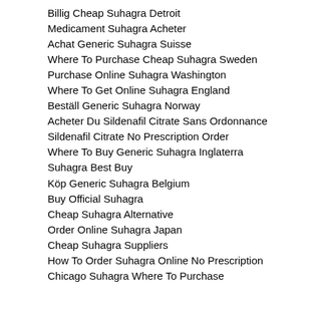Billig Cheap Suhagra Detroit
Medicament Suhagra Acheter
Achat Generic Suhagra Suisse
Where To Purchase Cheap Suhagra Sweden
Purchase Online Suhagra Washington
Where To Get Online Suhagra England
Beställ Generic Suhagra Norway
Acheter Du Sildenafil Citrate Sans Ordonnance
Sildenafil Citrate No Prescription Order
Where To Buy Generic Suhagra Inglaterra
Suhagra Best Buy
Köp Generic Suhagra Belgium
Buy Official Suhagra
Cheap Suhagra Alternative
Order Online Suhagra Japan
Cheap Suhagra Suppliers
How To Order Suhagra Online No Prescription
Chicago Suhagra Where To Purchase